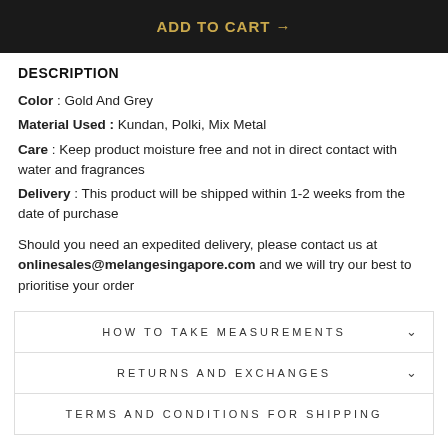ADD TO CART →
DESCRIPTION
Color : Gold And Grey
Material Used : Kundan, Polki, Mix Metal
Care : Keep product moisture free and not in direct contact with water and fragrances
Delivery : This product will be shipped within 1-2 weeks from the date of purchase
Should you need an expedited delivery, please contact us at onlinesales@melangesingapore.com and we will try our best to prioritise your order
HOW TO TAKE MEASUREMENTS
RETURNS AND EXCHANGES
TERMS AND CONDITIONS FOR SHIPPING